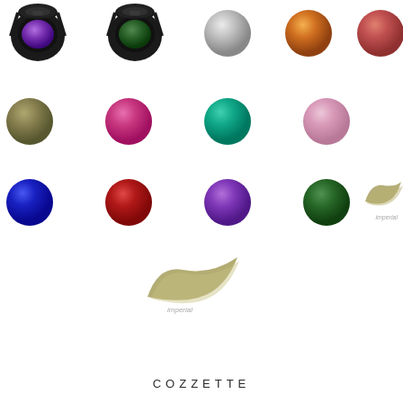[Figure (photo): Product catalog page showing Cozzette cosmetics eyeshadow pans and color swatches. Row 1: two black compact cases (purple and green pans), silver/gray dot, orange dot, coral/red dot. Row 2: olive/gold dot, pink dot, teal dot, lilac/light pink dot, sage green dot. Row 3: bright blue dot, red dot, purple dot, dark green dot, and a gold shimmer brush stroke swatch labeled 'imperial'. Below row 3: a larger gold shimmer brush stroke swatch labeled 'imperial'. Bottom: COZZETTE brand name.]
COZZETTE